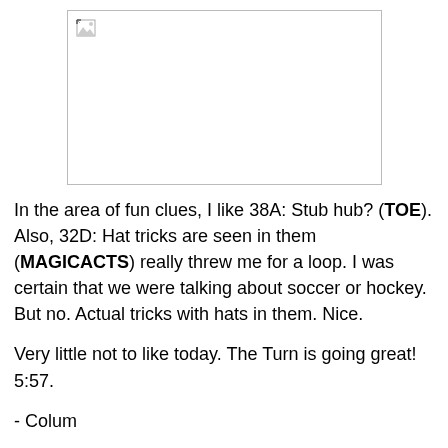[Figure (photo): Broken/missing image placeholder with border]
In the area of fun clues, I like 38A: Stub hub? (TOE). Also, 32D: Hat tricks are seen in them (MAGICACTS) really threw me for a loop. I was certain that we were talking about soccer or hockey. But no. Actual tricks with hats in them. Nice.
Very little not to like today. The Turn is going great! 5:57.
- Colum
P.S. I actually really love Bolero by Ravel, even though it's not the most representative of works by the composer. If you want something else with a Spanish flair by him, try Alborada del Gracioso.